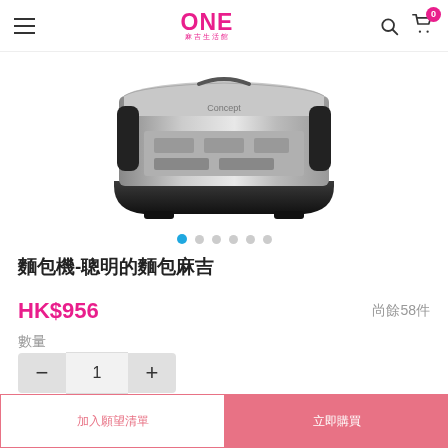ONE (logo) with search and cart icons
[Figure (photo): Stainless steel bread maker appliance, LZHZXY brand, showing the front/side view with black trim]
麵包機-聰明的麵包麻吉
HK$956　尚餘58件
數量
1
品牌名稱:LZHZXY容量:501 – 800 g產地:CN(起源)權力(W): &lt; 500 W電壓(V): 220
加入願望清單　立即購買